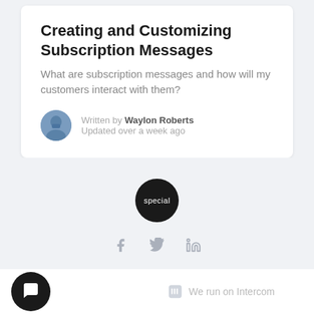Creating and Customizing Subscription Messages
What are subscription messages and how will my customers interact with them?
Written by Waylon Roberts
Updated over a week ago
[Figure (logo): Dark circular logo with text 'special']
[Figure (infographic): Social media icons: Facebook, Twitter, LinkedIn]
[Figure (logo): Chat bubble icon in dark circle and 'We run on Intercom' text with Intercom logo]